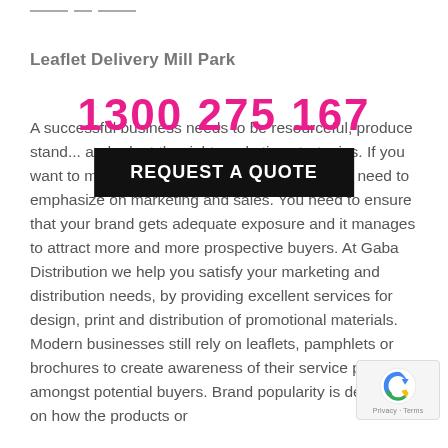— – —
Leaflet Delivery Mill Park
1300 275 167
REQUEST A QUOTE
A successful business needs to be resourceful, produce stand... and adopt the right marketing strategies. If you want to make your venture successful then you need to emphasize on marketing and sales. You need to ensure that your brand gets adequate exposure and it manages to attract more and more prospective buyers. At Gaba Distribution we help you satisfy your marketing and distribution needs, by providing excellent services for design, print and distribution of promotional materials. Modern businesses still rely on leaflets, pamphlets or brochures to create awareness of their services products amongst potential buyers. Brand popularity is dependent on how the products or